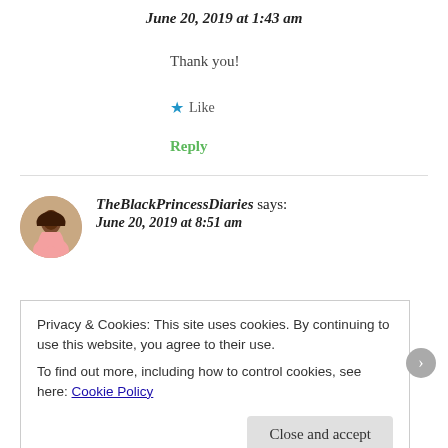June 20, 2019 at 1:43 am
Thank you!
★ Like
Reply
TheBlackPrincessDiaries says: June 20, 2019 at 8:51 am
Privacy & Cookies: This site uses cookies. By continuing to use this website, you agree to their use. To find out more, including how to control cookies, see here: Cookie Policy
Close and accept